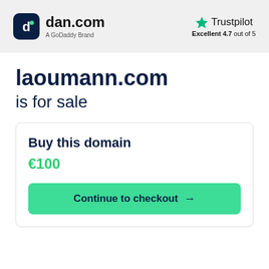[Figure (logo): dan.com logo with GoDaddy Brand text and Trustpilot Excellent 4.7 out of 5 rating in header bar]
laoumann.com is for sale
Buy this domain
€100
Continue to checkout →